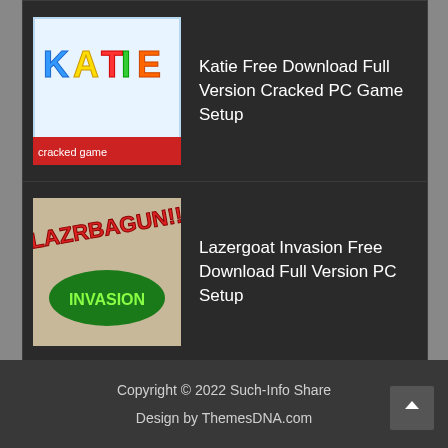Katie Free Download Full Version Cracked PC Game Setup
Lazergoat Invasion Free Download Full Version PC Setup
Lenin The Lion Free Download Full Version PC Game Setup
Copyright © 2022 Such-Info Share
Design by ThemesDNA.com